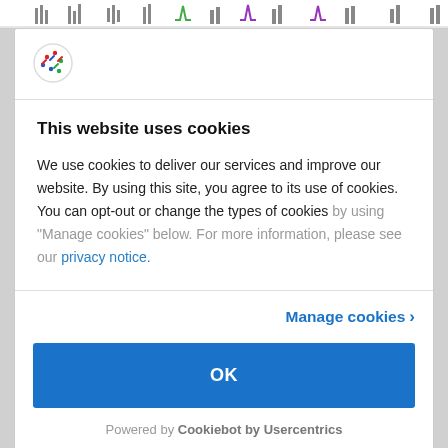[Figure (other): Top browser bar with chart/analytics icons in a strip]
[Figure (logo): Cookiebot logo - circular icon with colored dots/dashes]
This website uses cookies
We use cookies to deliver our services and improve our website. By using this site, you agree to its use of cookies. You can opt-out or change the types of cookies by using “Manage cookies” below. For more information, please see our privacy notice.
Manage cookies >
OK
Powered by Cookiebot by Usercentrics